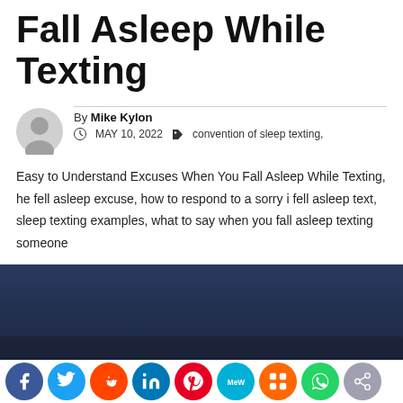Fall Asleep While Texting
By Mike Kylon
MAY 10, 2022   convention of sleep texting,
Easy to Understand Excuses When You Fall Asleep While Texting, he fell asleep excuse, how to respond to a sorry i fell asleep text, sleep texting examples, what to say when you fall asleep texting someone
[Figure (photo): Hero image with dark blue/gray gradient background — partial view at bottom of page]
[Figure (infographic): Social sharing bar with icons: Facebook (blue), Twitter (light blue), Reddit (orange-red), LinkedIn (blue), Pinterest (red), MeWe (teal), Mix (orange), WhatsApp (green), Share (gray)]